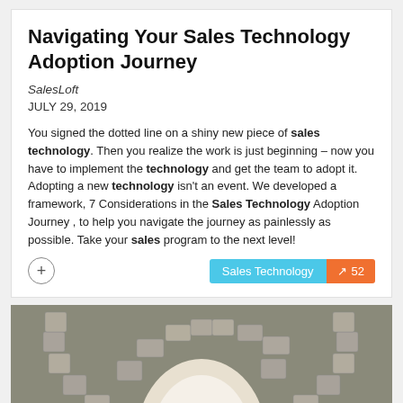Navigating Your Sales Technology Adoption Journey
SalesLoft
JULY 29, 2019
You signed the dotted line on a shiny new piece of sales technology. Then you realize the work is just beginning – now you have to implement the technology and get the team to adopt it. Adopting a new technology isn't an event. We developed a framework, 7 Considerations in the Sales Technology Adoption Journey , to help you navigate the journey as painlessly as possible. Take your sales program to the next level!
[Figure (photo): A stone arch viewed from below, showing stacked masonry blocks forming a semicircular arch in black and white/sepia tones.]